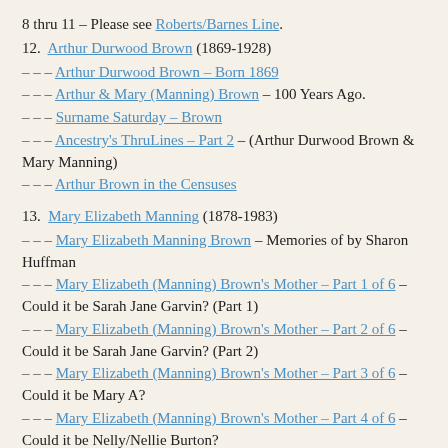8 thru 11 – Please see Roberts/Barnes Line.
12. Arthur Durwood Brown (1869-1928)
– – – Arthur Durwood Brown – Born 1869
– – – Arthur & Mary (Manning) Brown – 100 Years Ago.
– – – Surname Saturday – Brown
– – – Ancestry's ThruLines – Part 2 – (Arthur Durwood Brown & Mary Manning)
– – – Arthur Brown in the Censuses
13. Mary Elizabeth Manning (1878-1983)
– – – Mary Elizabeth Manning Brown – Memories of by Sharon Huffman
– – – Mary Elizabeth (Manning) Brown's Mother – Part 1 of 6 – Could it be Sarah Jane Garvin? (Part 1)
– – – Mary Elizabeth (Manning) Brown's Mother – Part 2 of 6 – Could it be Sarah Jane Garvin? (Part 2)
– – – Mary Elizabeth (Manning) Brown's Mother – Part 3 of 6 – Could it be Mary A?
– – – Mary Elizabeth (Manning) Brown's Mother – Part 4 of 6 – Could it be Nelly/Nellie Burton?
– – –Mary Elizabeth (Manning) Brown's Mother – Part 5 of 6 – Could it be Lisa J. Mannin?
– – – Mary Elizabeth (Manning) Brown's Mother – Part 6